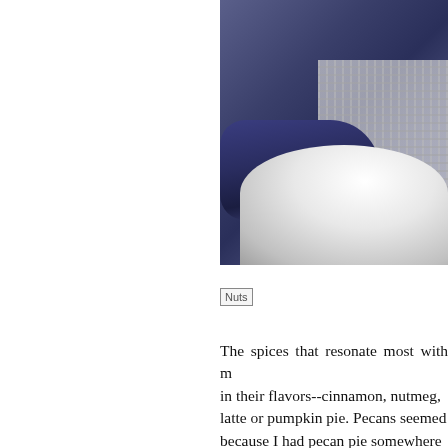[Figure (photo): Close-up photo of a blue-handled kitchen grater resting against a white bowl]
[Figure (photo): Broken/missing image placeholder labeled 'Nuts']
The spices that resonate most with me in their flavors--cinnamon, nutmeg, latte or pumpkin pie. Pecans seemed because I had pecan pie somewhere throw in some pumpkin seeds. The but it has satisfied that urge for some